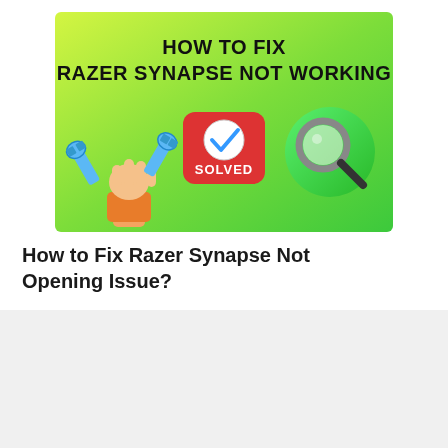[Figure (infographic): Banner image with yellow-green gradient background showing title 'HOW TO FIX RAZER SYNAPSE NOT WORKING' in bold black text, with a hand holding a wrench icon, a red SOLVED badge with checkmark, and a magnifying glass icon.]
How to Fix Razer Synapse Not Opening Issue?
HOME    PRIVACY POLICY    ABOUT US
CONTACT US    DISCLAIMER    DMCA POLICY